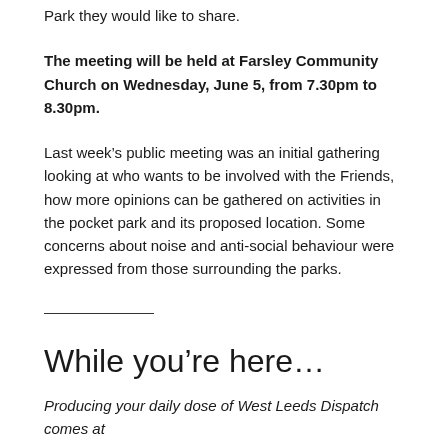Park they would like to share.
The meeting will be held at Farsley Community Church on Wednesday, June 5, from 7.30pm to 8.30pm.
Last week’s public meeting was an initial gathering looking at who wants to be involved with the Friends, how more opinions can be gathered on activities in the pocket park and its proposed location. Some concerns about noise and anti-social behaviour were expressed from those surrounding the parks.
While you’re here…
Producing your daily dose of West Leeds Dispatch comes at